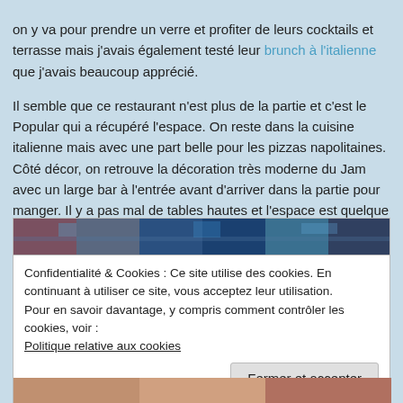on y va pour prendre un verre et profiter de leurs cocktails et terrasse mais j'avais également testé leur brunch à l'italienne que j'avais beaucoup apprécié.
Il semble que ce restaurant n'est plus de la partie et c'est le Popular qui a récupéré l'espace. On reste dans la cuisine italienne mais avec une part belle pour les pizzas napolitaines. Côté décor, on retrouve la décoration très moderne du Jam avec un large bar à l'entrée avant d'arriver dans la partie pour manger. Il y a pas mal de tables hautes et l'espace est quelque peu délimité en deux parties par des vitres et séparations lumineuses. On aperçoit les cuisines dans le fond de la salle. J'y ai été en soirée et la lumière est très tamisée avec des néons un peu partout ce qui est bien pour un bar mais un peu moins confortable quand on veut lire la carte ou regarder son assiette.
[Figure (photo): Horizontal strip photo showing restaurant interior with dark/moody lighting and blue neon lighting]
Confidentialité & Cookies : Ce site utilise des cookies. En continuant à utiliser ce site, vous acceptez leur utilisation.
Pour en savoir davantage, y compris comment contrôler les cookies, voir :
Politique relative aux cookies
Fermer et accepter
[Figure (photo): Bottom strip photo showing restaurant interior, warm tones]